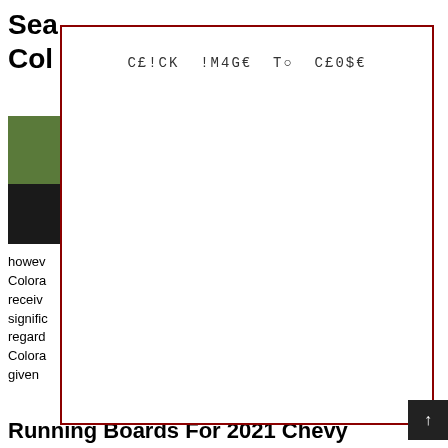Sea... Col...
[Figure (photo): Thumbnail photo showing interior/exterior of a vehicle, green and dark tones]
Crew do uck, howev Colorado rmally receive a signific regard , this Colorado st be given
[Figure (screenshot): Overlay dialog box with red border and monospace text: CE!CK !M4GE To C£0$€]
Running Boards For 2021 Chevy